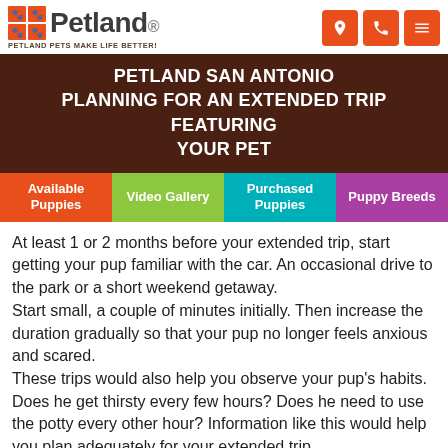Petland — Petland Pets Make Life Better!
PETLAND SAN ANTONIO
PLANNING FOR AN EXTENDED TRIP FEATURING YOUR PET
Available Puppies | Video Gallery | Purchased Puppies | Puppy Breeds
At least 1 or 2 months before your extended trip, start getting your pup familiar with the car. An occasional drive to the park or a short weekend getaway.
Start small, a couple of minutes initially. Then increase the duration gradually so that your pup no longer feels anxious and scared.
These trips would also help you observe your pup's habits. Does he get thirsty every few hours? Does he need to use the potty every other hour? Information like this would help you plan adequately for your extended trip.